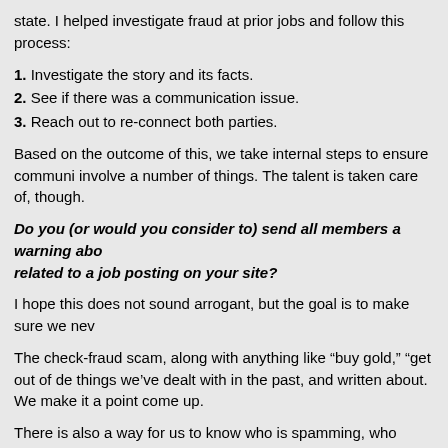state. I helped investigate fraud at prior jobs and follow this process:
1. Investigate the story and its facts.
2. See if there was a communication issue.
3. Reach out to re-connect both parties.
Based on the outcome of this, we take internal steps to ensure communi involve a number of things. The talent is taken care of, though.
Do you (or would you consider to) send all members a warning abo related to a job posting on your site?
I hope this does not sound arrogant, but the goal is to make sure we nev
The check-fraud scam, along with anything like "buy gold," "get out of de things we've dealt with in the past, and written about. We make it a point come up.
There is also a way for us to know who is spamming, who sends messag who may be testing me. It has happened, and people get a laugh out of i them what they were doing.
Additionally, and this is important, the panel helps us the